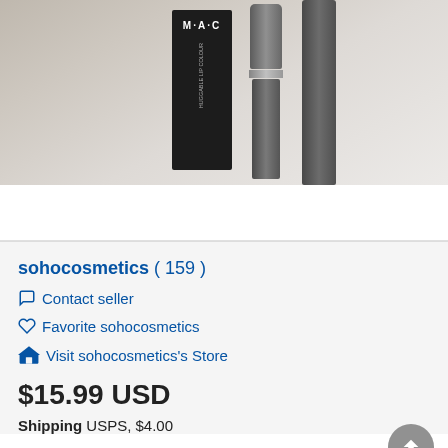[Figure (photo): Product photo showing MAC lipstick box and two dark metallic lipstick tubes on a beige/grey surface]
sohocosmetics ( 159 )
Contact seller
Favorite sohocosmetics
Visit sohocosmetics's Store
$15.99 USD
Shipping USPS, $4.00